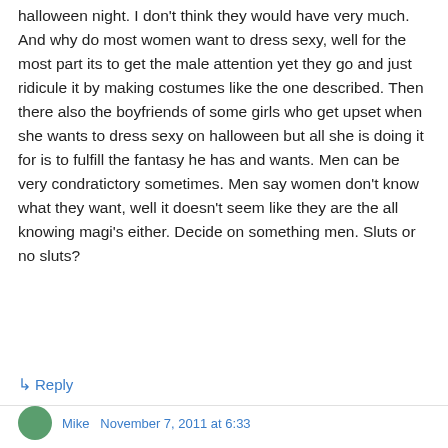halloween night. I don't think they would have very much. And why do most women want to dress sexy, well for the most part its to get the male attention yet they go and just ridicule it by making costumes like the one described. Then there also the boyfriends of some girls who get upset when she wants to dress sexy on halloween but all she is doing it for is to fulfill the fantasy he has and wants. Men can be very condratictory sometimes. Men say women don't know what they want, well it doesn't seem like they are the all knowing magi's either. Decide on something men. Sluts or no sluts?
↳ Reply
Mike   November 7, 2011 at 6:33